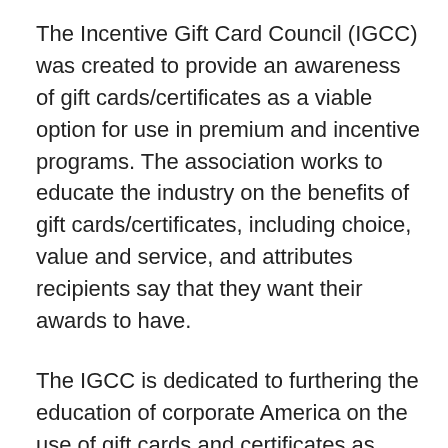The Incentive Gift Card Council (IGCC) was created to provide an awareness of gift cards/certificates as a viable option for use in premium and incentive programs. The association works to educate the industry on the benefits of gift cards/certificates, including choice, value and service, and attributes recipients say that they want their awards to have.
The IGCC is dedicated to furthering the education of corporate America on the use of gift cards and certificates as corporate incentives. IGCC is a Strategic Industry Group within the Incentive Marketing Association (IMA), and requires a membership to the IMA. Individuals may sign up for both at once, or join